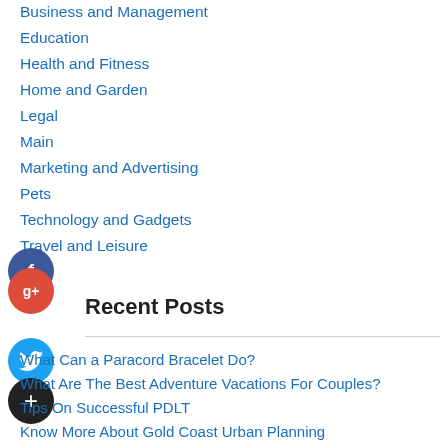Business and Management
Education
Health and Fitness
Home and Garden
Legal
Main
Marketing and Advertising
Pets
Technology and Gadgets
Travel and Leisure
Recent Posts
What Can a Paracord Bracelet Do?
What Are The Best Adventure Vacations For Couples?
Tips On Successful PDLT
Know More About Gold Coast Urban Planning